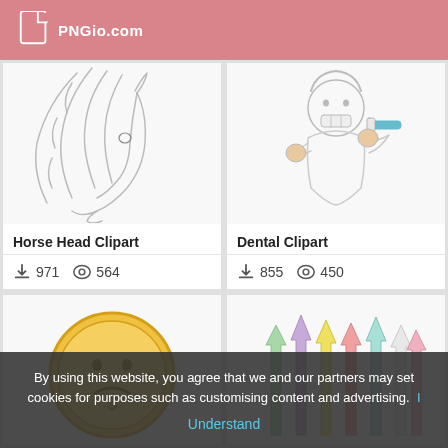PNGio.com
[Figure (illustration): Horse head line art clipart showing a horse with flowing mane]
Horse Head Clipart
971 downloads, 564 views
[Figure (illustration): Dental clipart showing a person brushing teeth]
Dental Clipart
855 downloads, 450 views
[Figure (illustration): Gold coin clipart with sad face]
[Figure (illustration): Colorful upward arrows clipart in various pastel colors]
By using this website, you agree that we and our partners may set cookies for purposes such as customising content and advertising. I Understand